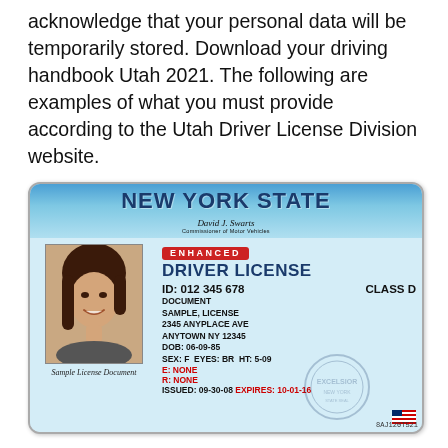acknowledge that your personal data will be temporarily stored. Download your driving handbook Utah 2021. The following are examples of what you must provide according to the Utah Driver License Division website.
[Figure (photo): Sample New York State Enhanced Driver License card showing a photo of a young woman, ID: 012 345 678, Class D, Document Sample License, 2345 Anyplace Ave, Anytown NY 12345, DOB: 06-09-85, SEX: F EYES: BR HT: 5-09, E: NONE, R: NONE, ISSUED: 09-30-08, EXPIRES: 10-01-16, barcode 8AJ120T521]